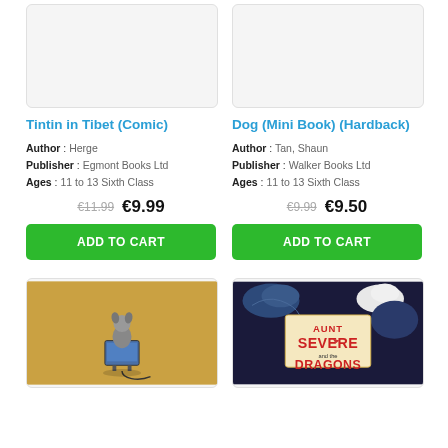[Figure (photo): Book cover placeholder image for Tintin in Tibet (Comic) - light gray rectangle]
[Figure (photo): Book cover placeholder image for Dog (Mini Book) (Hardback) - light gray rectangle]
Tintin in Tibet (Comic)
Dog (Mini Book) (Hardback)
Author : Herge
Publisher : Egmont Books Ltd
Ages : 11 to 13 Sixth Class
Author : Tan, Shaun
Publisher : Walker Books Ltd
Ages : 11 to 13 Sixth Class
€11.99  €9.99
€9.99  €9.50
ADD TO CART
ADD TO CART
[Figure (photo): Book cover showing a figure (dog/animal) sitting in front of a blue TV on a tan/yellow background]
[Figure (photo): Book cover for 'Aunt Severe and the Dragons' showing dragons and bold red text on dark background]